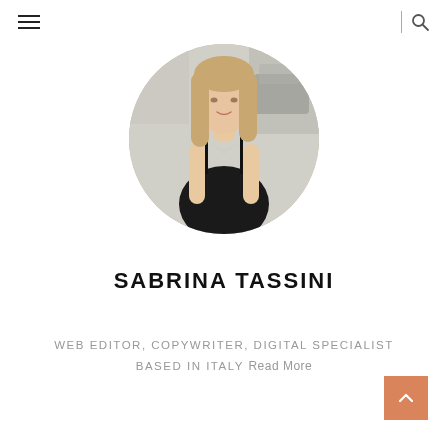☰  |  🔍
[Figure (photo): Circular cropped profile photo of a young woman with long blonde hair wearing a black spaghetti-strap top, photographed outdoors on a city street.]
SABRINA TASSINI
WEB EDITOR, COPYWRITER, DIGITAL SPECIALIST BASED IN ITALY Read More